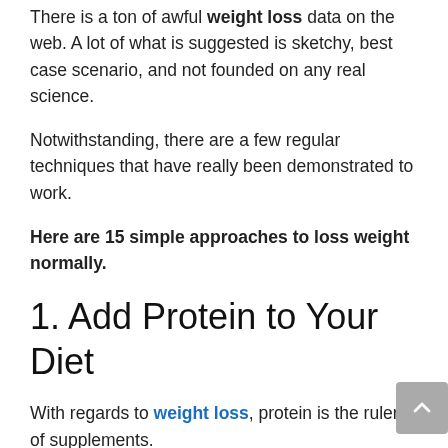There is a ton of awful weight loss data on the web. A lot of what is suggested is sketchy, best case scenario, and not founded on any real science.
Notwithstanding, there are a few regular techniques that have really been demonstrated to work.
Here are 15 simple approaches to loss weight normally.
1. Add Protein to Your Diet
With regards to weight loss, protein is the ruler of supplements.
Your body consumes calories while processing and using the protein you eat, so a high-protein diet can support digestion by up to 80–100